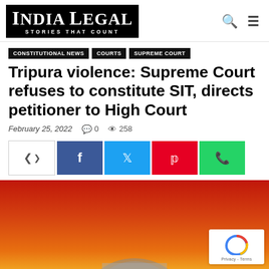India Legal – Stories That Count
CONSTITUTIONAL NEWS  COURTS  SUPREME COURT
Tripura violence: Supreme Court refuses to constitute SIT, directs petitioner to High Court
February 25, 2022  0  258
[Figure (screenshot): Social share buttons: share icon, Facebook, Twitter, Pinterest, WhatsApp]
[Figure (photo): Hero image with red/orange gradient background showing top of Supreme Court building dome, partially visible]